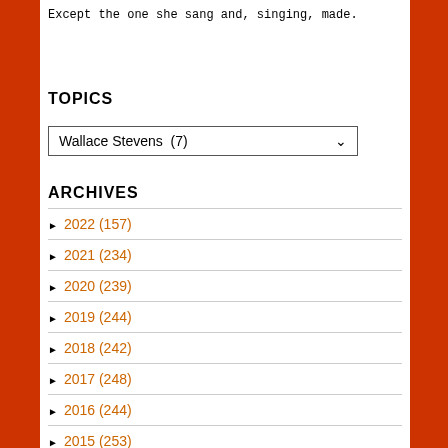Except the one she sang and, singing, made.
TOPICS
Wallace Stevens  (7)
ARCHIVES
► 2022 (157)
► 2021 (234)
► 2020 (239)
► 2019 (244)
► 2018 (242)
► 2017 (248)
► 2016 (244)
► 2015 (253)